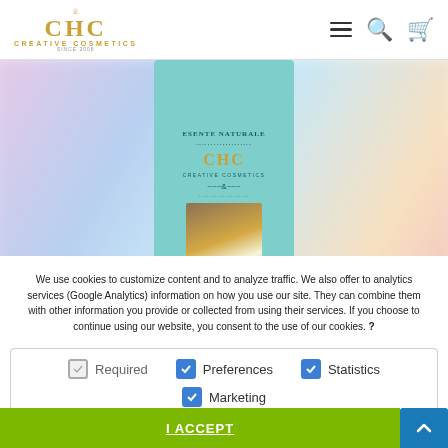[Figure (screenshot): CHC Creative Cosmetics website header with logo, hamburger menu, search icon, and cart icon, overlaid on a product image of a teal/turquoise CHC cosmetics box containing a hair tool.]
We use cookies to customize content and to analyze traffic. We also offer to analytics services (Google Analytics) information on how you use our site. They can combine them with other information you provide or collected from using their services. If you choose to continue using our website, you consent to the use of our cookies. ?
Required  Preferences  Statistics  Marketing
I ACCEPT